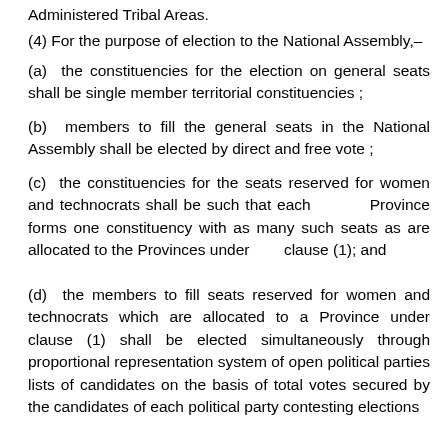Administered Tribal Areas.
(4) For the purpose of election to the National Assembly,–
(a)  the constituencies for the election on general seats shall be single member territorial constituencies ;
(b)  members to fill the general seats in the National Assembly shall be elected by direct and free vote ;
(c)  the constituencies for the seats reserved for women and technocrats shall be such that each        Province forms one constituency with as many such seats as are allocated to the Provinces under        clause (1); and
(d)  the members to fill seats reserved for women and technocrats which are allocated to a Province under clause (1) shall be elected simultaneously through proportional representation system of open political parties lists of candidates on the basis of total votes secured by the candidates of each political party contesting elections